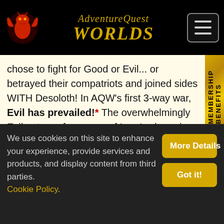AdventureQuest Worlds
chose to fight for Good or Evil... or betrayed their compatriots and joined sides WITH Desoloth! In AQW's first 3-way war, Evil has prevailed!* The overwhelmingly Evil nature of so many of Lore's champions has determined Desoloth's fate. Now it's up to YOU to see it through to the final death!
[Figure (illustration): Close-up illustration of Desoloth, a dark green dragon character with yellow glowing eyes and black wings, from AdventureQuest Worlds game]
We use cookies on this site to enhance your experience, provide services and products, and display content from third parties. Cookie Policy.